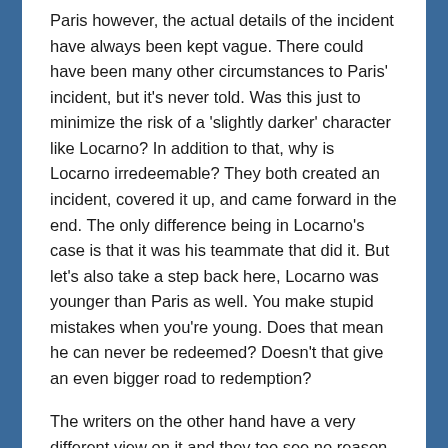Paris however, the actual details of the incident have always been kept vague. There could have been many other circumstances to Paris' incident, but it's never told. Was this just to minimize the risk of a 'slightly darker' character like Locarno? In addition to that, why is Locarno irredeemable? They both created an incident, covered it up, and came forward in the end. The only difference being in Locarno's case is that it was his teammate that did it. But let's also take a step back here, Locarno was younger than Paris as well. You make stupid mistakes when you're young. Does that mean he can never be redeemed? Doesn't that give an even bigger road to redemption?
The writers on the other hand have a very different view on it and they too see no reason why Locarno couldn't have come back. Both their histories were serious, why could one be redeemed? One possible reason was given (in a slightly joking manner), that the Voyager crew just